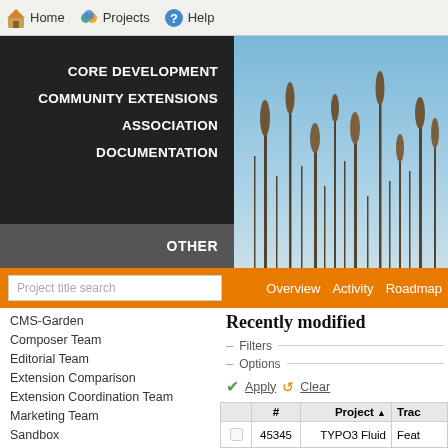Home  Projects  Help
[Figure (screenshot): Dark navigation panel with menu items: CORE DEVELOPMENT, COMMUNITY EXTENSIONS, ASSOCIATION, DOCUMENTATION, OTHER; right side shows a nature photo with reeds against a blue sky]
Project title search
Overview  Activity  Roadmap
CMS-Garden
Composer Team
Editorial Team
Extension Comparison
Extension Coordination Team
Marketing Team
Sandbox
Screencast Team
Server Team
Translation Team
(archived projects)
Recently modified
– Filters
– Options
Apply  Clear
|  | # | Project | Trac |
| --- | --- | --- | --- |
|  | 45345 | TYPO3 Fluid | Feat |